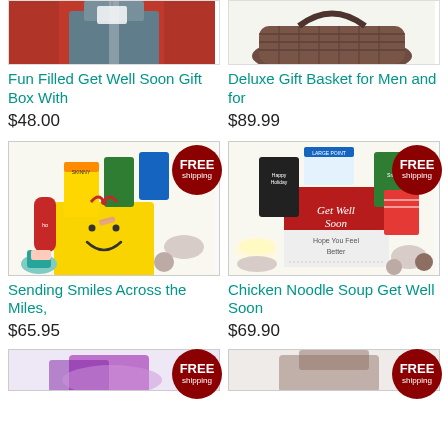[Figure (photo): Fun Filled Get Well Soon Gift Box with items, partially cropped at top]
[Figure (photo): Deluxe Gift Basket for Men in wicker basket, partially cropped at top]
Fun Filled Get Well Soon Gift Box With
$48.00
Deluxe Gift Basket for Men and for
$89.99
[Figure (photo): Sending Smiles Across the Miles gift box with smiley face, FREE shipping badge]
[Figure (photo): Chicken Noodle Soup Get Well Soon gift basket, FREE shipping badge]
Sending Smiles Across the Miles,
$65.95
Chicken Noodle Soup Get Well Soon
$69.90
[Figure (photo): Bottom left gift item, partially cropped, FREE shipping badge]
[Figure (photo): Bottom right gift item, partially cropped, FREE shipping badge]